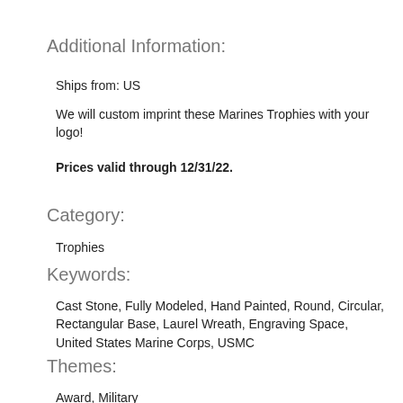Additional Information:
Ships from: US
We will custom imprint these Marines Trophies with your logo!
Prices valid through 12/31/22.
Category:
Trophies
Keywords:
Cast Stone, Fully Modeled, Hand Painted, Round, Circular, Rectangular Base, Laurel Wreath, Engraving Space, United States Marine Corps, USMC
Themes:
Award, Military